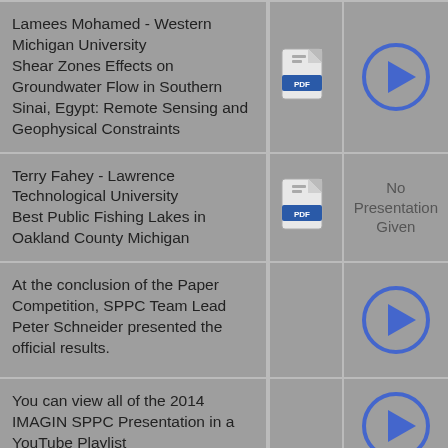Lamees Mohamed - Western Michigan University
Shear Zones Effects on Groundwater Flow in Southern Sinai, Egypt: Remote Sensing and Geophysical Constraints
[Figure (other): PDF document icon]
[Figure (other): Blue play button circle icon]
Terry Fahey - Lawrence Technological University
Best Public Fishing Lakes in Oakland County Michigan
[Figure (other): PDF document icon]
No Presentation Given
At the conclusion of the Paper Competition, SPPC Team Lead Peter Schneider presented the official results.
[Figure (other): Blue play button circle icon]
You can view all of the 2014 IMAGIN SPPC Presentation in a YouTube Playlist
[Figure (other): Blue play button circle icon]